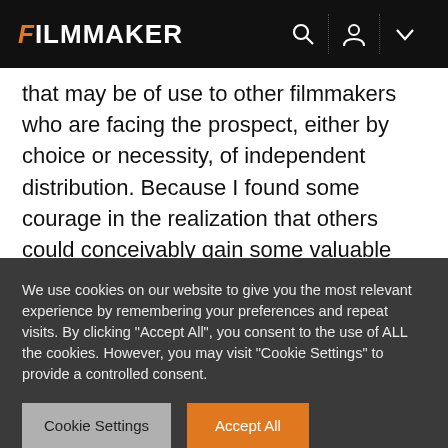FILMMAKER
that may be of use to other filmmakers who are facing the prospect, either by choice or necessity, of independent distribution. Because I found some courage in the realization that others could conceivably gain some valuable information in this case study I have agreed to post to this blog as regularly as possible. I will do my best to convey information that is actually useful. Some of this may take the form of facts or figures and some may be my personal opinions or analyses of noteworthy occurrences
We use cookies on our website to give you the most relevant experience by remembering your preferences and repeat visits. By clicking "Accept All", you consent to the use of ALL the cookies. However, you may visit "Cookie Settings" to provide a controlled consent.